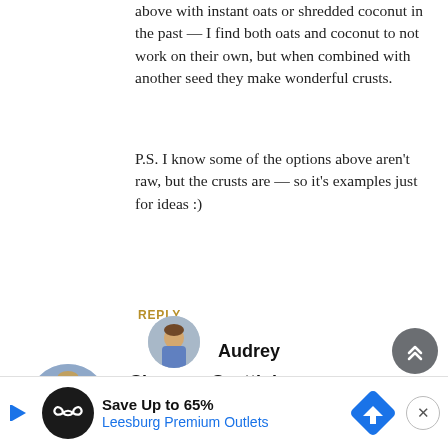above with instant oats or shredded coconut in the past — I find both oats and coconut to not work on their own, but when combined with another seed they make wonderful crusts.
P.S. I know some of the options above aren't raw, but the crusts are — so it's examples just for ideas :)
REPLY
[Figure (photo): Circular avatar photo of Shannon Scattini, a person in a white shirt]
Shannon Scattini
Do you sell your baked goods?
REPLY
[Figure (photo): Partial circular avatar photo of Audrey]
Audrey
[Figure (screenshot): Advertisement banner: Save Up to 65% Leesburg Premium Outlets]